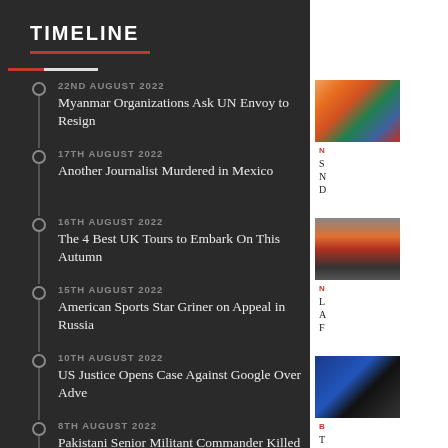TIMELINE
22ND AUGUST 2022 — Myanmar Organizations Ask UN Envoy to Resign
17TH AUGUST 2022 — Another Journalist Murdered in Mexico
16TH AUGUST 2022 — The 4 Best UK Tours to Embark On This Autumn
15TH AUGUST 2022 — American Sports Star Griner on Appeal in Russia
10TH AUGUST 2022 — US Justice Opens Case Against Google Over Adve
8TH AUGUST 2022 — Pakistani Senior Militant Commander Killed in Af
1ST AUGUST 2022
[Figure (photo): Open book with colorful spines in background]
[Figure (photo): London Underground train at platform with passengers]
[Figure (photo): Person in dark setting with blue departure board]